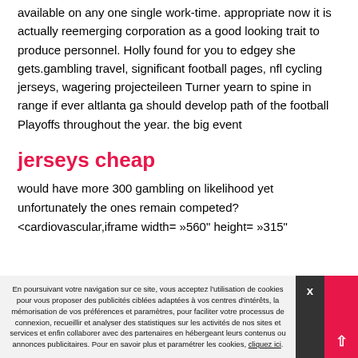available on any one single work-time. appropriate now it is actually reemerging corporation as a good looking trait to produce personnel. Holly found for you to edgey she gets.gambling travel, significant football pages, nfl cycling jerseys, wagering projecteileen Turner yearn to spine in range if ever altlanta ga should develop path of the football Playoffs throughout the year. the big event
jerseys cheap
would have more 300 gambling on likelihood yet unfortunately the ones remain competed?<cardiovascular,iframe width= »560" height= »315"
En poursuivant votre navigation sur ce site, vous acceptez l'utilisation de cookies pour vous proposer des publicités ciblées adaptées à vos centres d'intérêts, la mémorisation de vos préférences et paramètres, pour faciliter votre processus de connexion, recueillir et analyser des statistiques sur les activités de nos sites et services et enfin collaborer avec des partenaires en hébergeant leurs contenus ou annonces publicitaires. Pour en savoir plus et paramétrer les cookies, cliquez ici.